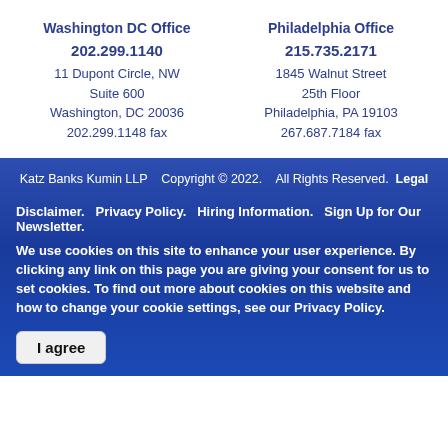Washington DC Office
202.299.1140
11 Dupont Circle, NW
Suite 600
Washington, DC 20036
202.299.1148 fax
Philadelphia Office
215.735.2171
1845 Walnut Street
25th Floor
Philadelphia, PA 19103
267.687.7184 fax
Katz Banks Kumin LLP   Copyright © 2022.   All Rights Reserved.   Legal
Disclaimer.  Privacy Policy.  Hiring Information.  Sign Up for Our Newsletter. We use cookies on this site to enhance your user experience. By clicking any link on this page you are giving your consent for us to set cookies. To find out more about cookies on this website and how to change your cookie settings, see our Privacy Policy.
I agree